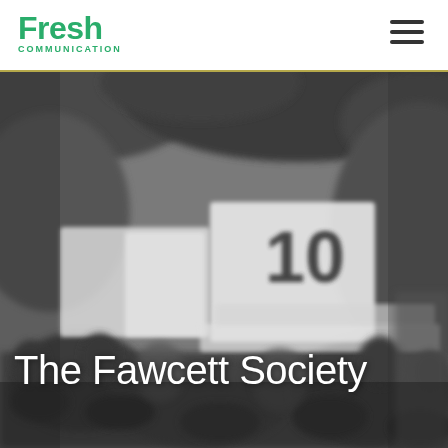Fresh Communication
[Figure (photo): Black and white blurred photograph of a protest crowd holding signs. One sign prominently shows the number '10'. The scene is outdoors with trees in the background and appears to be a civil rights or political demonstration.]
The Fawcett Society